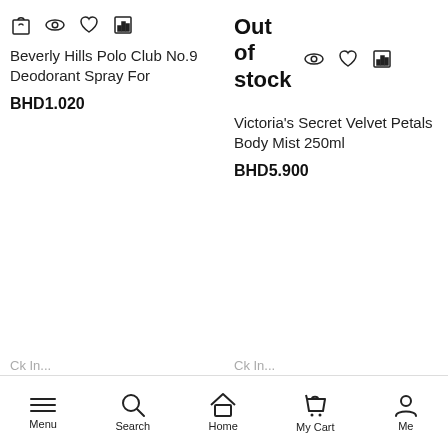[Figure (screenshot): Product listing grid showing two products on an e-commerce mobile app page. Left: Beverly Hills Polo Club No.9 Deodorant Spray, BHD1.020. Right: Victoria's Secret Velvet Petals Body Mist 250ml, BHD5.900, marked Out of stock. Bottom navigation bar with Menu, Search, Home, My Cart, Me icons.]